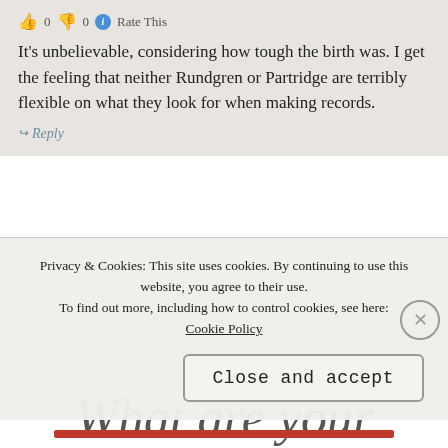👍 0 👎 0 ℹ Rate This
It's unbelievable, considering how tough the birth was. I get the feeling that neither Rundgren or Partridge are terribly flexible on what they look for when making records.
↪ Reply
What are your thoughts, Good People? Tell it to me straight
Privacy & Cookies: This site uses cookies. By continuing to use this website, you agree to their use.
To find out more, including how to control cookies, see here:
Cookie Policy
Close and accept